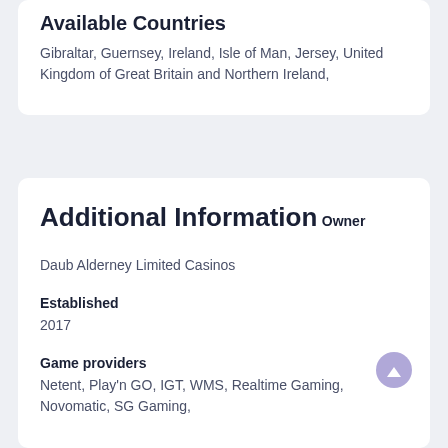Available Countries
Gibraltar, Guernsey, Ireland, Isle of Man, Jersey, United Kingdom of Great Britain and Northern Ireland,
Additional Information
Owner
Daub Alderney Limited Casinos
Established
2017
Game providers
Netent, Play'n GO, IGT, WMS, Realtime Gaming, Novomatic, SG Gaming,